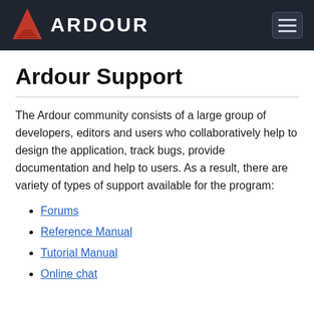ARDOUR
Ardour Support
The Ardour community consists of a large group of developers, editors and users who collaboratively help to design the application, track bugs, provide documentation and help to users. As a result, there are variety of types of support available for the program:
Forums
Reference Manual
Tutorial Manual
Online chat